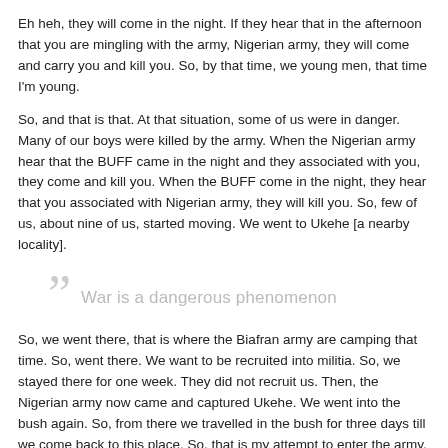Eh heh, they will come in the night. If they hear that in the afternoon that you are mingling with the army, Nigerian army, they will come and carry you and kill you. So, by that time, we young men, that time I'm young.
So, and that is that. At that situation, some of us were in danger. Many of our boys were killed by the army. When the Nigerian army hear that the BUFF came in the night and they associated with you, they come and kill you. When the BUFF come in the night, they hear that you associated with Nigerian army, they will kill you. So, few of us, about nine of us, started moving. We went to Ukehe [a nearby locality].
War is a dangerous phenomenon
So, we went there, that is where the Biafran army are camping that time. So, went there. We want to be recruited into militia. So, we stayed there for one week. They did not recruit us. Then, the Nigerian army now came and captured Ukehe. We went into the bush again. So, from there we travelled in the bush for three days till we come back to this place. So, that is my attempt to enter the army. So, I didn't join again because where they put us, they say the people in training when they are released, they'll carry us to training. But before the people in training will finish, for us to enter the training, the army have captured